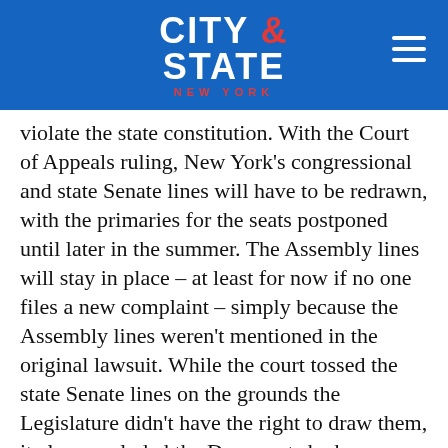[Figure (logo): City & State New York logo on blue header bar with hamburger menu icon]
violate the state constitution. With the Court of Appeals ruling, New York's congressional and state Senate lines will have to be redrawn, with the primaries for the seats postponed until later in the summer. The Assembly lines will stay in place – at least for now if no one files a new complaint – simply because the Assembly lines weren't mentioned in the original lawsuit. While the court tossed the state Senate lines on the grounds the Legislature didn't have the right to draw them, it also concluded the Democrats had gerrymandered the congressional lines. The decision from the Court of Appeals throws New York's political calendar – and candidates' campaigns – into disarray. A special master appointed by the courts must draw new maps by May 16, which